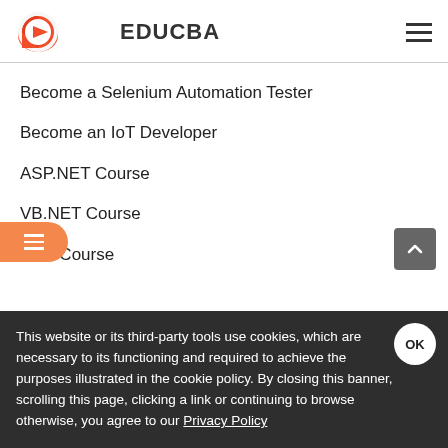EDUCBA
Become a Selenium Automation Tester
Become an IoT Developer
ASP.NET Course
VB.NET Course
PHP Course
This website or its third-party tools use cookies, which are necessary to its functioning and required to achieve the purposes illustrated in the cookie policy. By closing this banner, scrolling this page, clicking a link or continuing to browse otherwise, you agree to our Privacy Policy